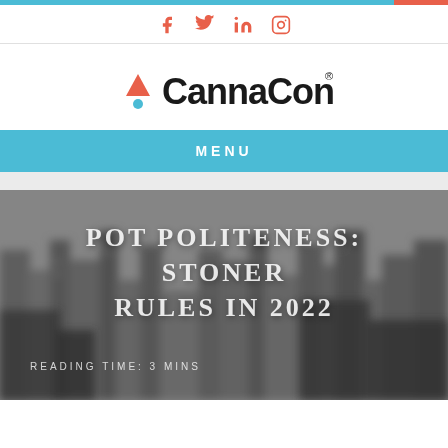Social icons: Facebook, Twitter, LinkedIn, Instagram
[Figure (logo): CannaCon logo with red triangle and blue dot above the company name]
MENU
[Figure (photo): Blurred black and white cityscape background image]
POT POLITENESS: STONER RULES IN 2022
READING TIME: 3 MINS